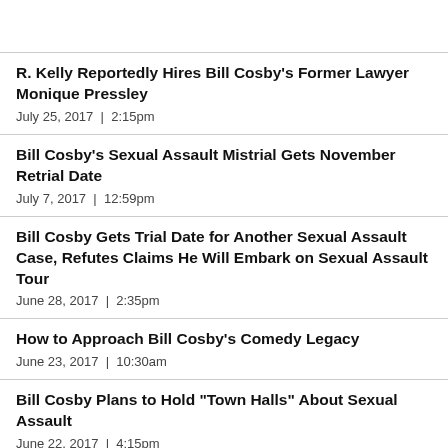R. Kelly Reportedly Hires Bill Cosby's Former Lawyer Monique Pressley
July 25, 2017  |  2:15pm
Bill Cosby's Sexual Assault Mistrial Gets November Retrial Date
July 7, 2017  |  12:59pm
Bill Cosby Gets Trial Date for Another Sexual Assault Case, Refutes Claims He Will Embark on Sexual Assault Tour
June 28, 2017  |  2:35pm
How to Approach Bill Cosby's Comedy Legacy
June 23, 2017  |  10:30am
Bill Cosby Plans to Hold "Town Halls" About Sexual Assault
June 22, 2017  |  4:15pm
LA County Prosecution Will Not Charge Bill Cosby